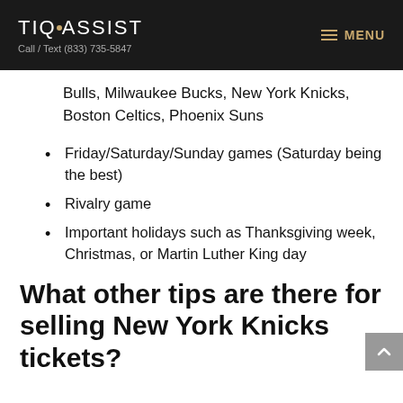TIQASSIST | Call / Text (833) 735-5847 | MENU
Bulls, Milwaukee Bucks, New York Knicks, Boston Celtics, Phoenix Suns
Friday/Saturday/Sunday games (Saturday being the best)
Rivalry game
Important holidays such as Thanksgiving week, Christmas, or Martin Luther King day
What other tips are there for selling New York Knicks tickets?